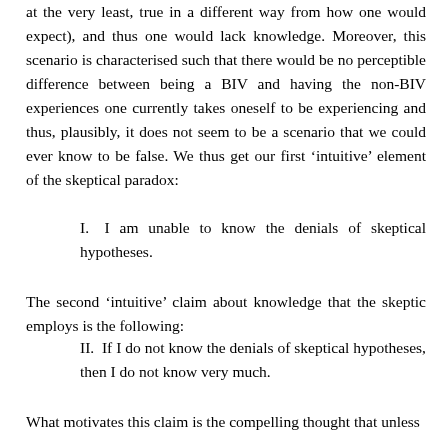at the very least, true in a different way from how one would expect), and thus one would lack knowledge. Moreover, this scenario is characterised such that there would be no perceptible difference between being a BIV and having the non-BIV experiences one currently takes oneself to be experiencing and thus, plausibly, it does not seem to be a scenario that we could ever know to be false. We thus get our first ‘intuitive’ element of the skeptical paradox:
I. I am unable to know the denials of skeptical hypotheses.
The second ‘intuitive’ claim about knowledge that the skeptic employs is the following:
II. If I do not know the denials of skeptical hypotheses, then I do not know very much.
What motivates this claim is the compelling thought that unless